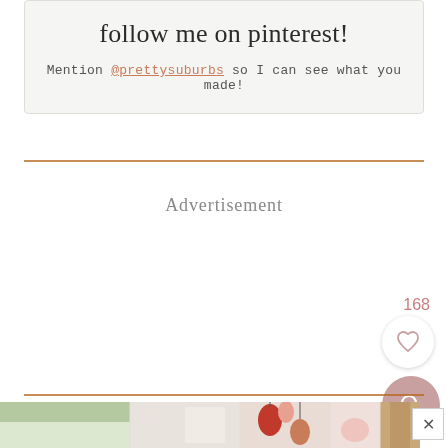follow me on pinterest!
Mention @prettysuburbs so I can see what you made!
Advertisement
168
[Figure (photo): A horizontal strip of photos showing food/craft items including green beans, decorative ornaments on string, and woven/textured materials.]